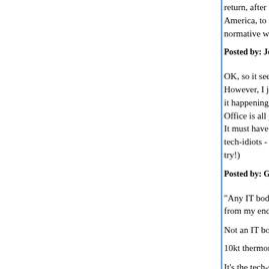return, after a cleansing period of savage retribution America, to a rational, well-considered, sober, informed, normative world.
Posted by: John D. Thullen | June 21, 2019 at 08:01 AM
OK, so it seems like I'm not able to post links any more. However, I just posted a link to a tweet by someone seeing it happening, with the line: Justin Trudeau coughing in the Oval Office is all you need to see today. (It may of course be satire.) It must have gone into the spam trap again. (Any IT bod - capable of talking to tech-idiots - who can tell me how to correct this from my end is very welcome to try!)
Posted by: Girl from the North Country | June 21, 2019 at 08:...
"Any IT bod - capable of talking to tech-idiots - who can tell me how to correct this from my end is very welcome to try!"
Not an IT bod, but:
10kt thermonuclear airburst over Facebook HQ
It's the tech-support equivalent of "turn it off and t...